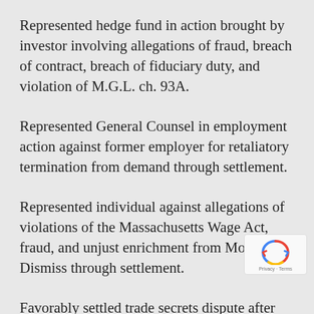Represented hedge fund in action brought by investor involving allegations of fraud, breach of contract, breach of fiduciary duty, and violation of M.G.L. ch. 93A.
Represented General Counsel in employment action against former employer for retaliatory termination from demand through settlement.
Represented individual against allegations of violations of the Massachusetts Wage Act, fraud, and unjust enrichment from Motion to Dismiss through settlement.
Favorably settled trade secrets dispute after handling matter from initiation.